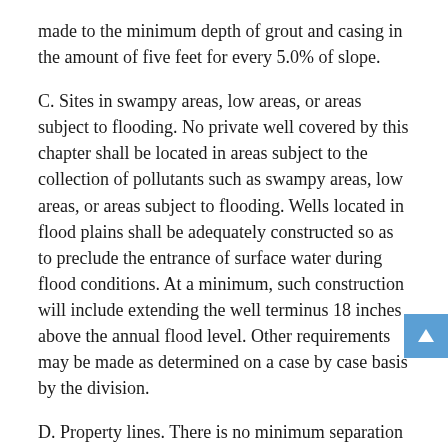made to the minimum depth of grout and casing in the amount of five feet for every 5.0% of slope.
C. Sites in swampy areas, low areas, or areas subject to flooding. No private well covered by this chapter shall be located in areas subject to the collection of pollutants such as swampy areas, low areas, or areas subject to flooding. Wells located in flood plains shall be adequately constructed so as to preclude the entrance of surface water during flood conditions. At a minimum, such construction will include extending the well terminus 18 inches above the annual flood level. Other requirements may be made as determined on a case by case basis by the division.
D. Property lines. There is no minimum separation distance between a private well and a property line established by this chapter. The owner is responsible for establishing a separation distance from property lines such that the construction and location of the well will